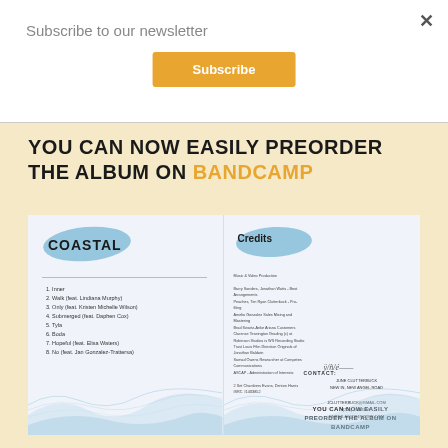Subscribe to our newsletter
Subscribe
YOU CAN NOW EASILY PREORDER THE ALBUM ON BANDCAMP
[Figure (illustration): Album booklet spread showing left panel with 'COASTAL' title and tracklist over wave background, and right panel with Credits section, contact info, signature, and preorder text]